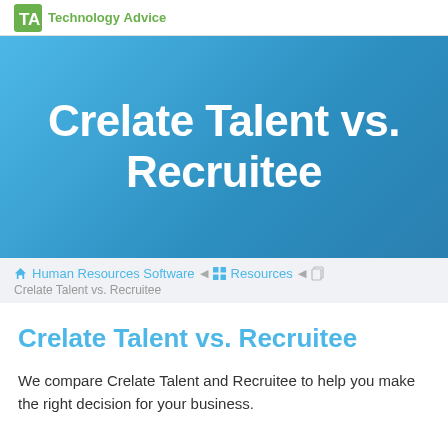Technology Advice
Crelate Talent vs. Recruitee
Human Resources Software  Resources  Crelate Talent vs. Recruitee
Crelate Talent vs. Recruitee
We compare Crelate Talent and Recruitee to help you make the right decision for your business.